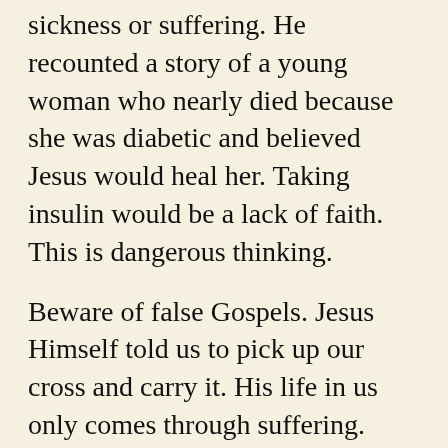sickness or suffering. He recounted a story of a young woman who nearly died because she was diabetic and believed Jesus would heal her. Taking insulin would be a lack of faith. This is dangerous thinking.
Beware of false Gospels. Jesus Himself told us to pick up our cross and carry it. His life in us only comes through suffering.
Mary, Mother of God